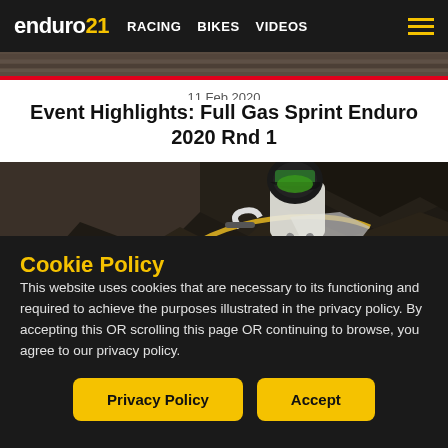enduro21  RACING  BIKES  VIDEOS
[Figure (photo): Top image strip showing dirt/ground texture with red bar at bottom]
11 Feb 2020
Event Highlights: Full Gas Sprint Enduro 2020 Rnd 1
[Figure (photo): Motocross rider on a muddy dirt bike navigating rocky terrain, wearing green helmet and white gear]
Cookie Policy
This website uses cookies that are necessary to its functioning and required to achieve the purposes illustrated in the privacy policy. By accepting this OR scrolling this page OR continuing to browse, you agree to our privacy policy.
Privacy Policy  Accept